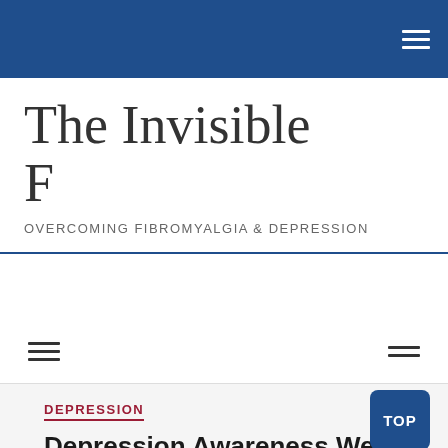Navigation bar with hamburger menu icon
The Invisible F
OVERCOMING FIBROMYALGIA & DEPRESSION
Secondary navigation bar with two hamburger icons
DEPRESSION
Depression Awareness Week
April 15, 2013   4 Comments
charity, depressin, Depression Alliance, depression awareness week, suicide